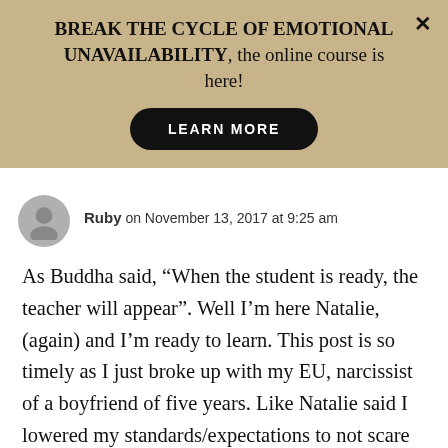BREAK THE CYCLE OF EMOTIONAL UNAVAILABILITY, the online course is here! LEARN MORE
Ruby on November 13, 2017 at 9:25 am
As Buddha said, “When the student is ready, the teacher will appear”. Well I’m here Natalie, (again) and I’m ready to learn. This post is so timely as I just broke up with my EU, narcissist of a boyfriend of five years. Like Natalie said I lowered my standards/expectations to not scare him away and make him feel